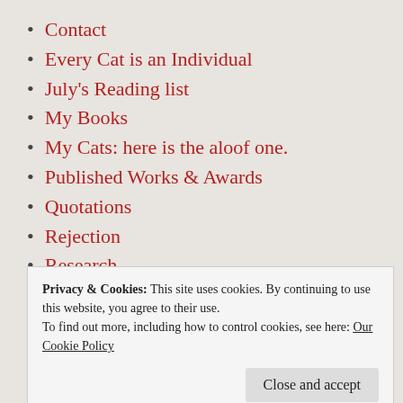Contact
Every Cat is an Individual
July's Reading list
My Books
My Cats: here is the aloof one.
Published Works & Awards
Quotations
Rejection
Research
Simply Writing
Welcome
Privacy & Cookies: This site uses cookies. By continuing to use this website, you agree to their use. To find out more, including how to control cookies, see here: Our Cookie Policy
Writing Tips